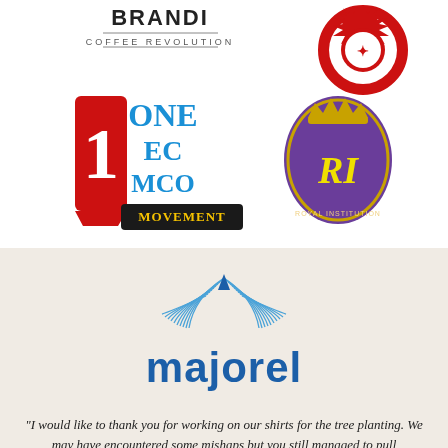[Figure (logo): Coffee Revolution brand logo with text 'COFFEE REVOLUTION']
[Figure (logo): Red circular gear/cog emblem logo]
[Figure (logo): 1 EC MCO Movement logo with red '1' and blue/yellow text]
[Figure (logo): Purple royal crest/shield logo with crown and letters RI]
[Figure (logo): Majorel company logo with blue swoosh/ribbon graphic and blue text 'majorel']
"I would like to thank you for working on our shirts for the tree planting. We may have encountered some mishaps but you still managed to pull